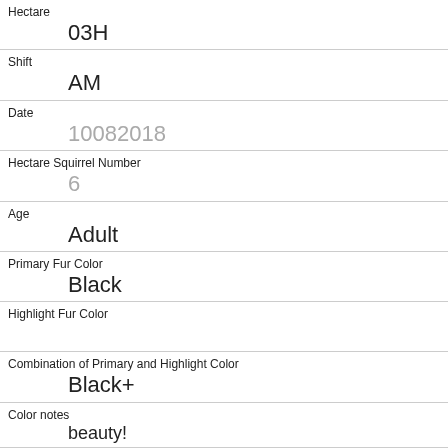| Hectare | 03H |
| Shift | AM |
| Date | 10082018 |
| Hectare Squirrel Number | 6 |
| Age | Adult |
| Primary Fur Color | Black |
| Highlight Fur Color |  |
| Combination of Primary and Highlight Color | Black+ |
| Color notes | beauty! |
| Location | Ground Plane |